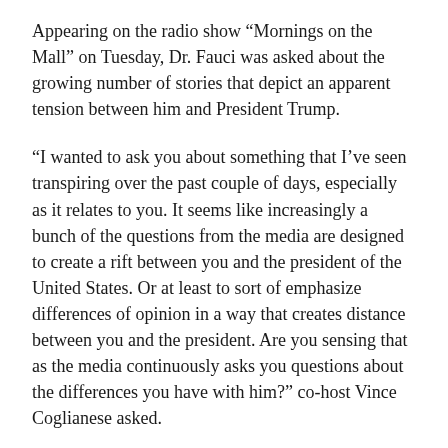Appearing on the radio show “Mornings on the Mall” on Tuesday, Dr. Fauci was asked about the growing number of stories that depict an apparent tension between him and President Trump.
“I wanted to ask you about something that I’ve seen transpiring over the past couple of days, especially as it relates to you. It seems like increasingly a bunch of the questions from the media are designed to create a rift between you and the president of the United States. Or at least to sort of emphasize differences of opinion in a way that creates distance between you and the president. Are you sensing that as the media continuously asks you questions about the differences you have with him?” co-host Vince Coglianese asked.